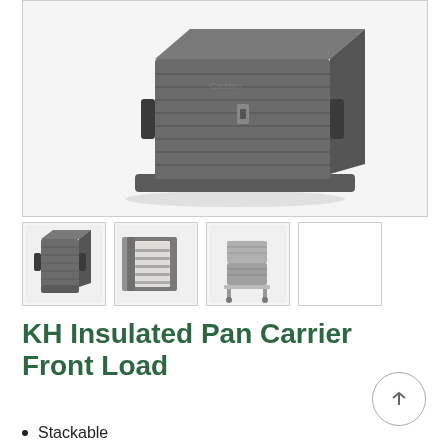[Figure (photo): Main product photo of a dark grey insulated pan carrier (front load style), shown from a 3/4 angle. The unit is a large rectangular insulated box with ribbed texture, side handles, and sits on a base. Brand name partially visible on the front.]
[Figure (photo): Thumbnail 1: Front view of the closed insulated pan carrier, dark grey, showing handles on both sides.]
[Figure (photo): Thumbnail 2: Open view of the insulated pan carrier showing interior shelves/racks with multiple levels.]
[Figure (photo): Thumbnail 3: Stacked pan carriers (lighter grey/metallic color) on a wheeled cart.]
KH Insulated Pan Carrier Front Load
Stackable